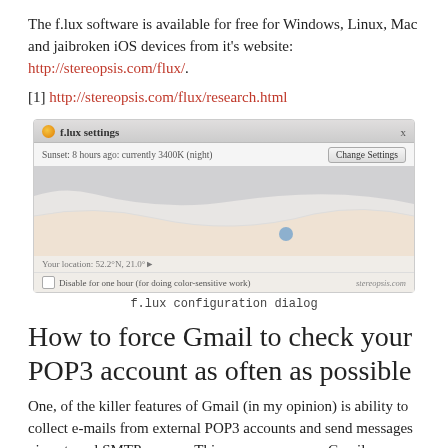The f.lux software is available for free for Windows, Linux, Mac and jaibroken iOS devices from it's website: http://stereopsis.com/flux/.
[1] http://stereopsis.com/flux/research.html
[Figure (screenshot): Screenshot of the f.lux settings dialog showing a configuration panel with a wave chart area, location set to 52.2°N, 21.0°, and a 'Disable for one hour' checkbox option.]
f.lux configuration dialog
How to force Gmail to check your POP3 account as often as possible
One, of the killer features of Gmail (in my opinion) is ability to collect e-mails from external POP3 accounts and send messages via external SMTP servers. This way you can use Gmail as a hub...